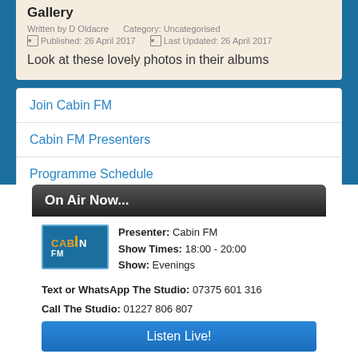Gallery
Written by D Oldacre   Category: Uncategorised
Published: 26 April 2017   Last Updated: 26 April 2017
Look at these lovely photos in their albums
Join Cabin FM
Cabin FM Presenters
Programme Schedule
Cabin FM Outside Broadcasts
On Air Now...
Presenter: Cabin FM   Show Times: 18:00 - 20:00
Show: Evenings
Text or WhatsApp The Studio: 07375 601 316
Call The Studio: 01227 806 807
Listen Live!